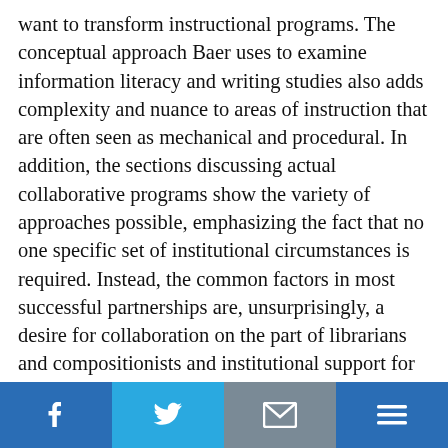want to transform instructional programs. The conceptual approach Baer uses to examine information literacy and writing studies also adds complexity and nuance to areas of instruction that are often seen as mechanical and procedural. In addition, the sections discussing actual collaborative programs show the variety of approaches possible, emphasizing the fact that no one specific set of institutional circumstances is required. Instead, the common factors in most successful partnerships are, unsurprisingly, a desire for collaboration on the part of librarians and compositionists and institutional support for that collaboration.
Baer's penultimate chapter tackles the more sensitive topic of the marginalization of both writing and information literacy instruction in higher education.
[Figure (other): Social sharing bar with four buttons: Facebook (blue), Twitter (light blue), Email/envelope (grey), and Menu/hamburger (blue)]